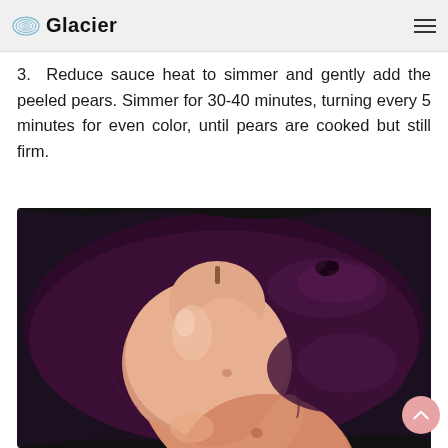Glacier
3.  Reduce sauce heat to simmer and gently add the peeled pears. Simmer for 30-40 minutes, turning every 5 minutes for even color, until pears are cooked but still firm.
[Figure (photo): Two peeled pears simmering in a dark red/purple sauce inside a dark-colored pot, viewed from above. The pears are pale/cream colored and partially submerged in the deep burgundy liquid.]